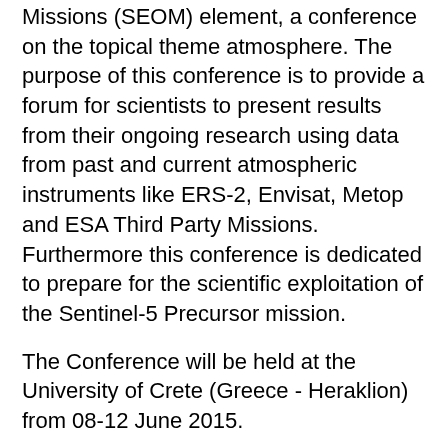Missions (SEOM) element, a conference on the topical theme atmosphere. The purpose of this conference is to provide a forum for scientists to present results from their ongoing research using data from past and current atmospheric instruments like ERS-2, Envisat, Metop and ESA Third Party Missions. Furthermore this conference is dedicated to prepare for the scientific exploitation of the Sentinel-5 Precursor mission.
The Conference will be held at the University of Crete (Greece - Heraklion) from 08-12 June 2015.
The workshop is open to ESA Principal Investigators, co-investigators, Sentinel-5 Precursor users, scientists, students, representatives from national, European and international space agencies and value adding industries.
The outcome of this conference will help to further shape the next generation of R&D activities in the frame of ESA Earth Observation Programme. Objectives